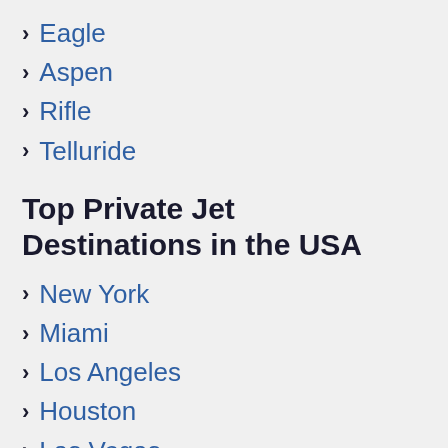Eagle
Aspen
Rifle
Telluride
Top Private Jet Destinations in the USA
New York
Miami
Los Angeles
Houston
Las Vegas
Dallas
Aspen